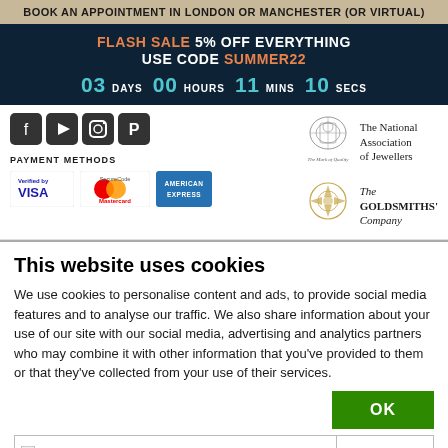BOOK AN APPOINTMENT IN LONDON OR MANCHESTER (OR VIRTUAL)
FLASH SALE 5% OFF EVERYTHING USE CODE SUMMER22
03 DAYS 00 HOURS 11 MINS 10 SECS
[Figure (logo): Social media icons (Facebook, YouTube, Instagram, Pinterest) and payment method logos (Verified by VISA, Mastercard SecureCode, American Express) with National Association of Jewellers and The Goldsmiths Company logos]
This website uses cookies
We use cookies to personalise content and ads, to provide social media features and to analyse our traffic. We also share information about your use of our site with our social media, advertising and analytics partners who may combine it with other information that you've provided to them or that they've collected from your use of their services.
OK
Necessary  Preferences  Statistics  Show details  Marketing